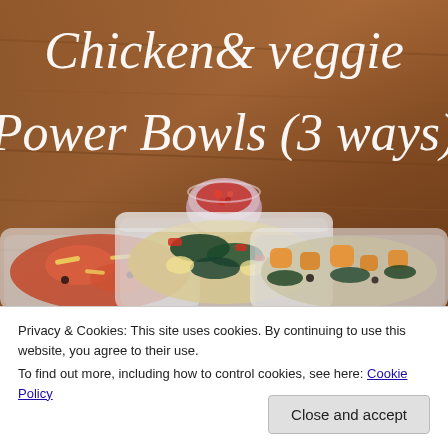[Figure (photo): Photo of three meal-prep containers with chicken and veggie power bowls on a wooden surface. A small container of salsa is in the center background. The title text 'Chicken & veggie Power Bowls (3 ways)' is overlaid in white italic serif font at the top.]
Privacy & Cookies: This site uses cookies. By continuing to use this website, you agree to their use.
To find out more, including how to control cookies, see here: Cookie Policy
Close and accept